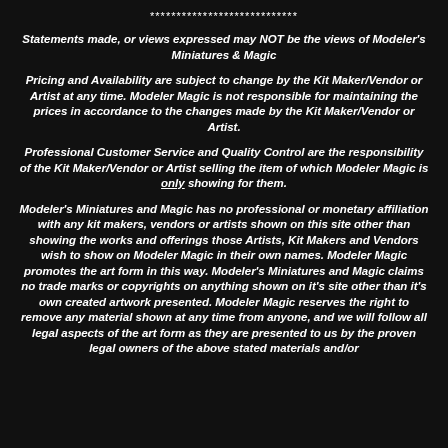****************************
Statements made, or views expressed may NOT be the views of Modeler's Miniatures & Magic
Pricing and Availability are subject to change by the Kit Maker/Vendor or Artist at any time. Modeler Magic is not responsible for maintaining the prices in accordance to the changes made by the Kit Maker/Vendor or Artist.
Professional Customer Service and Quality Control are the responsibility of the Kit Maker/Vendor or Artist selling the item of which Modeler Magic is only showing for them.
Modeler's Miniatures and Magic has no professional or monetary affiliation with any kit makers, vendors or artists shown on this site other than showing the works and offerings those Artists, Kit Makers and Vendors wish to show on Modeler Magic in their own names. Modeler Magic promotes the art form in this way. Modeler's Miniatures and Magic claims no trade marks or copyrights on anything shown on it's site other than it's own created artwork presented. Modeler Magic reserves the right to remove any material shown at any time from anyone, and we will follow all legal aspects of the art form as they are presented to us by the proven legal owners of the above stated materials and/or